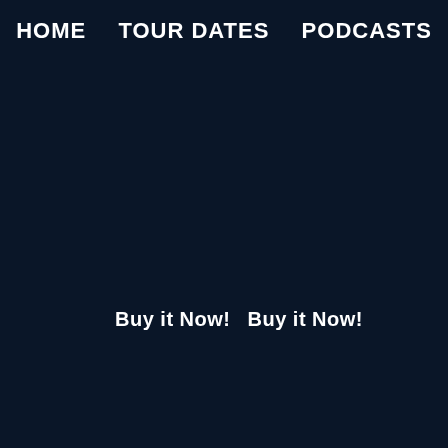HOME   TOUR DATES   PODCASTS
Buy it Now!
Buy it Now!